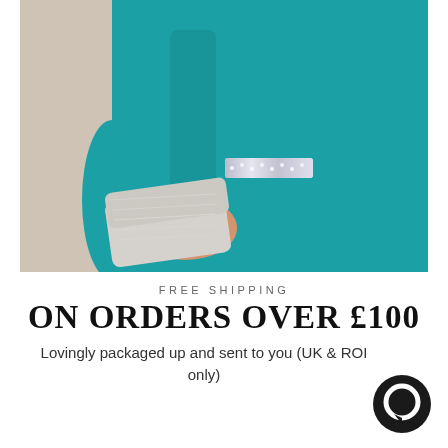[Figure (photo): Person wearing a teal/turquoise dress and holding a silver glitter clutch bag, with a rhinestone-embellished cuff visible. Background is a warm beige/cream color.]
FREE SHIPPING
ON ORDERS OVER £100
Lovingly packaged up and sent to you (UK & ROI only)